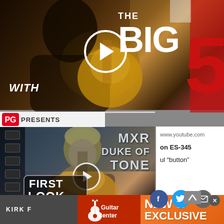[Figure (screenshot): Top video thumbnail: man holding yellow guitar with 'THE BIG' text overlay and play button circle. Appears to be a music video or show preview.]
[Figure (screenshot): Bottom video thumbnail: PG Presents 'First Look' - MXR Duke of Tone pedal demo with guitarist holding guitar. Play button visible.]
www.youtube.com
on ES-345
ul “button”
KIRK F
[Figure (logo): Guitar Center advertisement banner with Guitar Center logo on left (red background) and 'NEW & EXCLUSIVE' text on orange gradient background.]